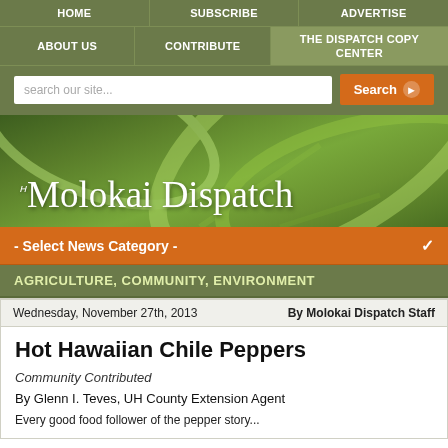HOME   SUBSCRIBE   ADVERTISE   ABOUT US   CONTRIBUTE   THE DISPATCH COPY CENTER
[Figure (screenshot): Search bar with input field 'search our site...' and orange Search button]
[Figure (logo): The Molokai Dispatch banner with green leaf background]
- Select News Category -
AGRICULTURE, COMMUNITY, ENVIRONMENT
Wednesday, November 27th, 2013    By Molokai Dispatch Staff
Hot Hawaiian Chile Peppers
Community Contributed
By Glenn I. Teves, UH County Extension Agent
Every good food follower of the pepper story...